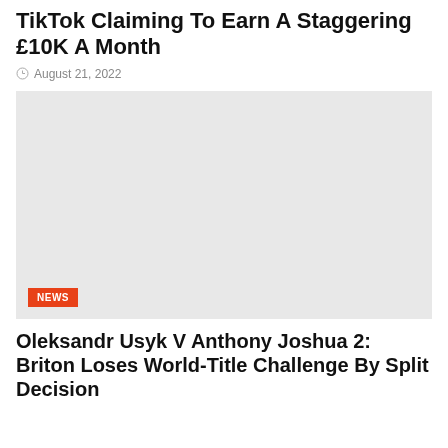TikTok Claiming To Earn A Staggering £10K A Month
August 21, 2022
[Figure (photo): News article image placeholder with light grey background, showing a NEWS badge in the lower left corner]
Oleksandr Usyk V Anthony Joshua 2: Briton Loses World-Title Challenge By Split Decision